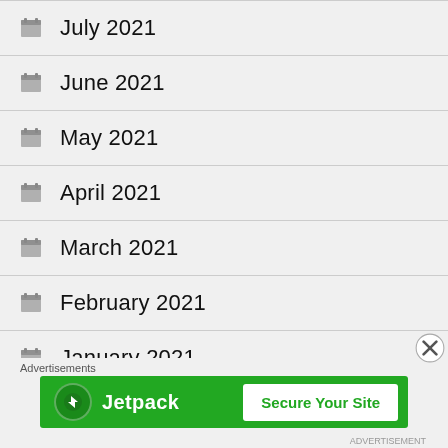July 2021
June 2021
May 2021
April 2021
March 2021
February 2021
January 2021
December 2020
Advertisements
[Figure (screenshot): Jetpack advertisement banner with 'Secure Your Site' button on green background]